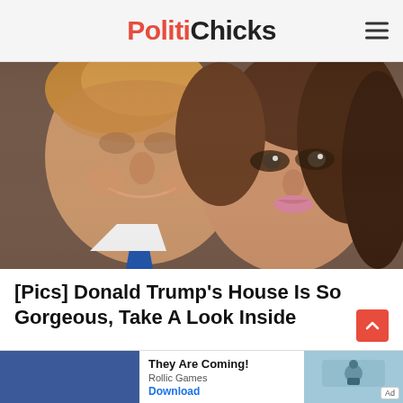PolitiChicks
[Figure (photo): Close-up photo of Donald Trump smiling with a blue tie and a woman with brown hair beside him]
[Pics] Donald Trump's House Is So Gorgeous, Take A Look Inside
[Figure (infographic): Advertisement banner: 'They Are Coming!' by Rollic Games with Download button and game screenshot]